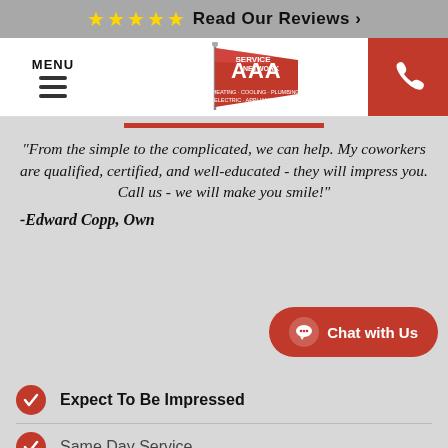★★★★★ Read Our Reviews >
[Figure (logo): AAA Service Network logo — red pennant flag with AAA in white text, SERVICE NETWORK text, tagline: Heating · Cooling · Plumbing / Electric · Appliance Repair]
MENU
"From the simple to the complicated, we can help. My coworkers are qualified, certified, and well-educated - they will impress you. Call us - we will make you smile!" -Edward Copp, Owner
Chat with Us
Expect To Be Impressed
Same Day Service
SCHEDULE SERVICE